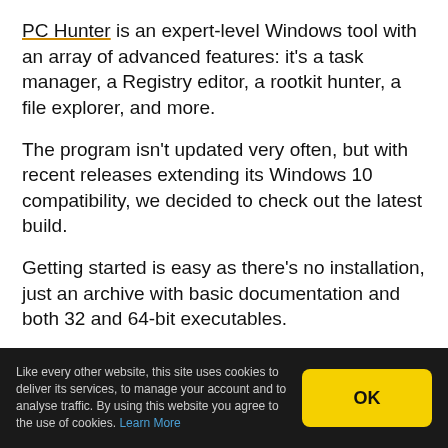PC Hunter is an expert-level Windows tool with an array of advanced features: it's a task manager, a Registry editor, a rootkit hunter, a file explorer, and more.
The program isn't updated very often, but with recent releases extending its Windows 10 compatibility, we decided to check out the latest build.
Getting started is easy as there's no installation, just an archive with basic documentation and both 32 and 64-bit executables.
The opening interface is basic, too– 13 tabs with tables of information underneath. It's annoying in places, particularly as we couldn't resize panels or the program
Like every other website, this site uses cookies to deliver its services, to manage your account and to analyse traffic. By using this website you agree to the use of cookies. Learn More